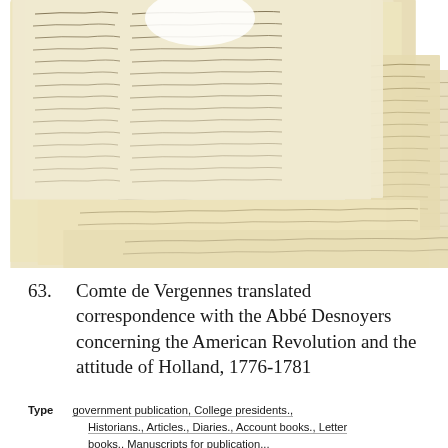[Figure (photo): Overlapping images of historical handwritten manuscript pages in cursive, aged yellowish-cream paper with ink writing from the colonial era, showing multiple layers of documents partially overlapping each other.]
63.  Comte de Vergennes translated correspondence with the Abbé Desnoyers concerning the American Revolution and the attitude of Holland, 1776-1781
Type  government publication, College presidents., Historians., Articles., Diaries., Account books., Letter books., Manuscripts for publication...